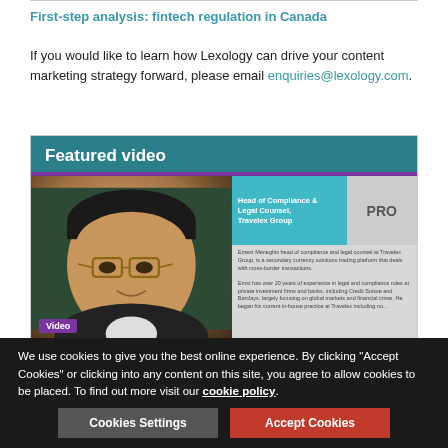First-step analysis: fintech regulation in Canada
If you would like to learn how Lexology can drive your content marketing strategy forward, please email enquiries@lexology.com.
[Figure (screenshot): Featured video section with teal header, thumbnail of an Asian man in glasses, and a profile card showing Head of Compliance & Legal Counsel, Travelex Group, with PRO badge]
We use cookies to give you the best online experience. By clicking "Accept Cookies" or clicking into any content on this site, you agree to allow cookies to be placed. To find out more visit our cookie policy.